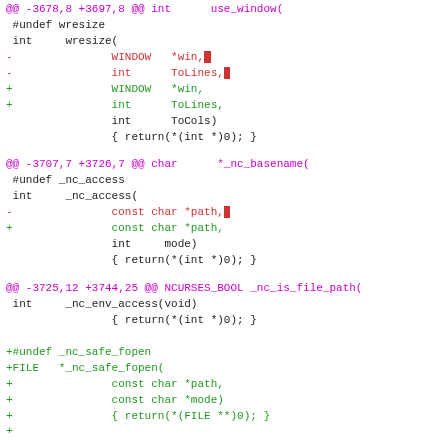@@ -3678,8 +3697,8 @@ int use_window(
#undef wresize
 int    wresize(
-               WINDOW   *win,
-               int      ToLines,
+               WINDOW   *win,
+               int      ToLines,
                int      ToCols)
                { return(*(int *)0); }
@@ -3707,7 +3726,7 @@ char     *_nc_basename(
#undef _nc_access
 int     _nc_access(
-               const char *path,
+               const char *path,
                int     mode)
                { return(*(int *)0); }
@@ -3725,12 +3744,25 @@ NCURSES_BOOL _nc_is_file_path(
int     _nc_env_access(void)
                { return(*(int *)0); }

+#undef _nc_safe_fopen
+FILE   *_nc_safe_fopen(
+               const char *path,
+               const char *mode)
+               { return(*(FILE **)0); }
+